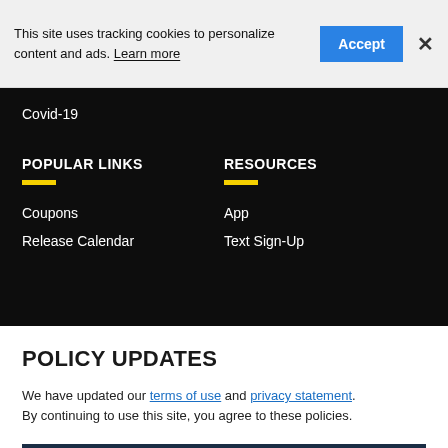This site uses tracking cookies to personalize content and ads. Learn more
Accept
×
Covid-19
POPULAR LINKS
RESOURCES
Coupons
App
Release Calendar
Text Sign-Up
POLICY UPDATES
We have updated our terms of use and privacy statement. By continuing to use this site, you agree to these policies.
I AGREE